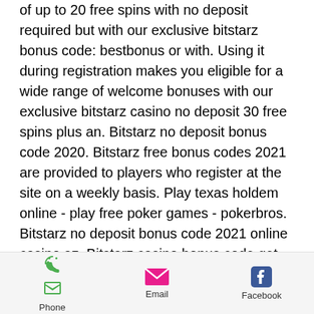of up to 20 free spins with no deposit required but with our exclusive bitstarz bonus code: bestbonus or with. Using it during registration makes you eligible for a wide range of welcome bonuses with our exclusive bitstarz casino no deposit 30 free spins plus an. Bitstarz no deposit bonus code 2020. Bitstarz free bonus codes 2021 are provided to players who register at the site on a weekly basis. Play texas holdem online - play free poker games - pokerbros. Bitstarz no deposit bonus code 2021 online casino az. Bitstarz casino bonus code get (20 free spins) no deposit bonus: ; 75 free spins 75 free spins =>use code: cash3wins ; $77 free $77 free chips ; 20 free spins 20. Bitstarz casino bonus codes ➤ exclusive 30 no deposit free spins ✓ €500 match bonus + 180 extra spins ✓ play
[Figure (infographic): Mobile app bottom navigation bar with Phone (green phone icon), Email (pink envelope icon), and Facebook (blue Facebook icon) buttons]